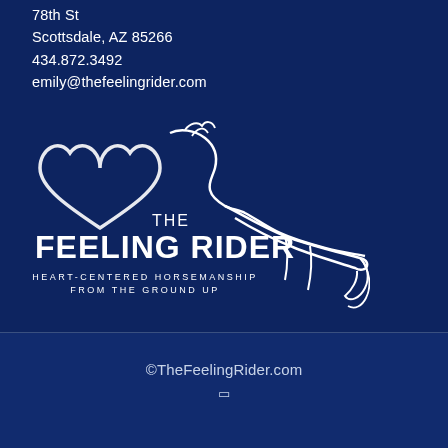78th St
Scottsdale, AZ 85266
434.872.3492
emily@thefeelingrider.com
[Figure (logo): The Feeling Rider logo — white line-art of a horse with a heart shape, with text 'THE FEELING RIDER' and tagline 'HEART-CENTERED HORSEMANSHIP FROM THE GROUND UP']
©TheFeelingRider.com